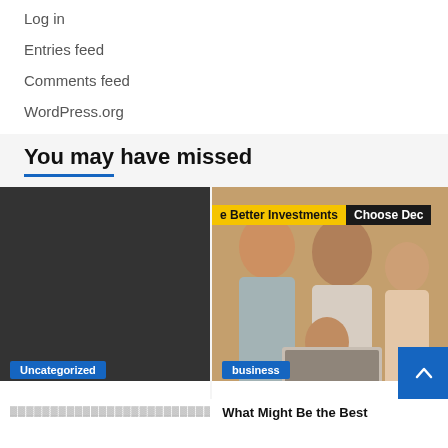Log in
Entries feed
Comments feed
WordPress.org
You may have missed
[Figure (photo): Dark/placeholder image card with 'Uncategorized' badge]
[Figure (photo): Photo of a family (woman, man, two children) looking at a laptop, with yellow banner 'e Better Investments' and dark banner 'Choose Dec', 'business' badge, scroll-to-top button]
What Might Be the Best